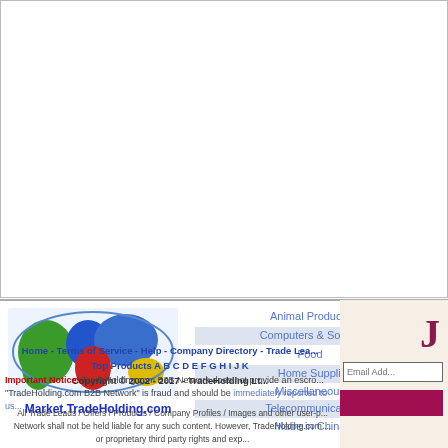[Figure (illustration): White rectangular area at top of page representing a content/ad area with light border]
[Figure (logo): World map logo with colorful continents (green Americas, blue Europe/Asia, red Africa, yellow Australia) above text Market.TradeHolding.com]
Animal Products
Computers & Software
Food
Home Supplies
Miscellaneous
Telecommunications
Made in China
Home - Terms of Service - Help - Company Directory - Trade Lea... Top Products A B C D E F G H I J K Copyright © 2002 - 2017 - TradeHolding Lt...
Important Notice! TradeHolding.com B2B Network does not provide an escro... "TradeHolding.com B2B Network" is fraud and should be immediately reported to us...
All Trade Leads / Offers / Products / Company Profiles / Images and other user-p... Network shall not be held liable for any such content. However, TradeHolding.com ... or proprietary third party rights and exp...